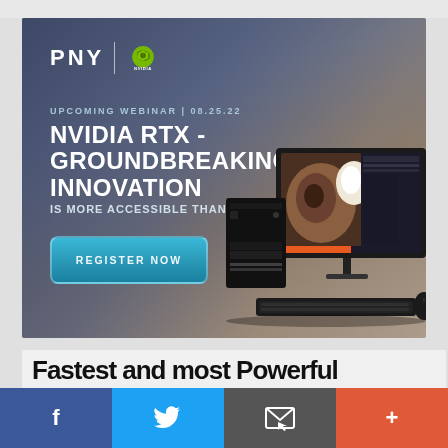[Figure (infographic): PNY and NVIDIA co-branded webinar advertisement banner. Dark blue-gray gradient background with workstation PC and monitor image on right. Text: 'UPCOMING WEBINAR | 08.25.22', 'NVIDIA RTX - GROUNDBREAKING INNOVATION IS MORE ACCESSIBLE THAN EVER'. Teal 'REGISTER NOW' button at bottom left.]
Fastest and most Powerful
[Figure (infographic): Social media sharing bar with four buttons: Facebook (dark blue), Twitter (light blue), Email/envelope (gray), Plus/more (coral red)]